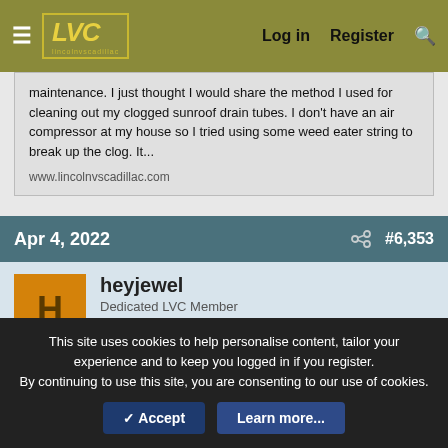LVC — Log in | Register
maintenance. I just thought I would share the method I used for cleaning out my clogged sunroof drain tubes. I don't have an air compressor at my house so I tried using some weed eater string to break up the clog. It...
www.lincolnvscadillac.com
Apr 4, 2022  #6,353
heyjewel
Dedicated LVC Member
Joined: Oct 5, 2015
Messages: 515
Reaction score: 48
Location: auburn
heyjewel said:
This site uses cookies to help personalise content, tailor your experience and to keep you logged in if you register.
By continuing to use this site, you are consenting to our use of cookies.
✓ Accept  Learn more...